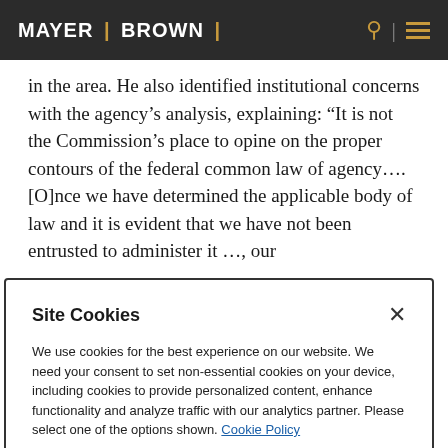MAYER | BROWN |
in the area. He also identified institutional concerns with the agency's analysis, explaining: “It is not the Commission’s place to opine on the proper contours of the federal common law of agency…. [O]nce we have determined the applicable body of law and it is evident that we have not been entrusted to administer it …, our
Site Cookies
We use cookies for the best experience on our website. We need your consent to set non-essential cookies on your device, including cookies to provide personalized content, enhance functionality and analyze traffic with our analytics partner. Please select one of the options shown. Cookie Policy
Accept All
Reject All